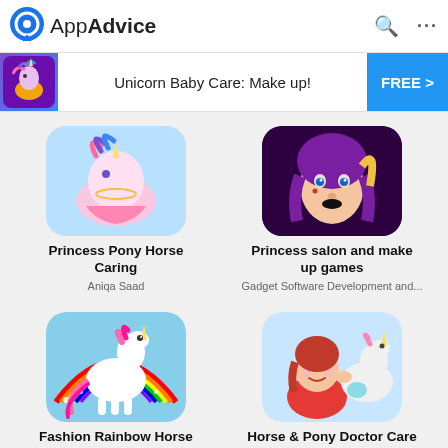AppAdvice
[Figure (screenshot): AppAdvice app store listing page showing Unicorn Baby Care banner and four app listings: Princess Pony Horse Caring, Princess salon and make up games, Fashion Rainbow Horse Doctor, Horse & Pony Doctor Care]
Unicorn Baby Care: Make up!
FREE >
Princess Pony Horse Caring
Aniqa Saad
Princess salon and make up games
Gadget Software Development and...
Fashion Rainbow Horse Doctor
Caroline Natalie
Horse & Pony Doctor Care
BEST FREE GAMES-FUN APPS